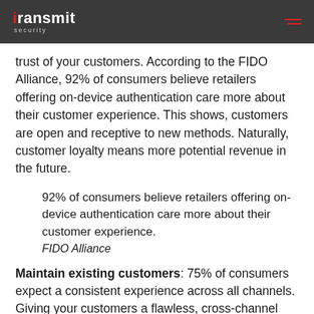Transmit Security
trust of your customers. According to the FIDO Alliance, 92% of consumers believe retailers offering on-device authentication care more about their customer experience. This shows, customers are open and receptive to new methods. Naturally, customer loyalty means more potential revenue in the future.
92% of consumers believe retailers offering on-device authentication care more about their customer experience. FIDO Alliance
Maintain existing customers: 75% of consumers expect a consistent experience across all channels. Giving your customers a flawless, cross-channel experience ensures that regardless of the device or